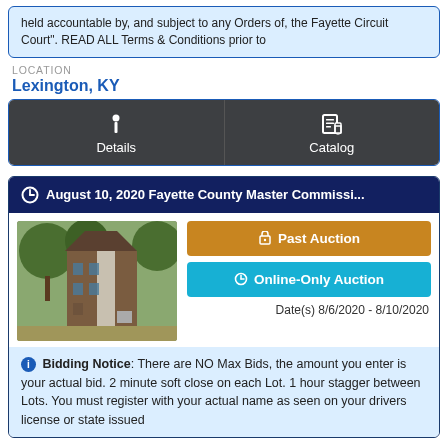held accountable by, and subject to any Orders of, the Fayette Circuit Court". READ ALL Terms & Conditions prior to...
LOCATION
Lexington, KY
Details
Catalog
August 10, 2020 Fayette County Master Commissi...
[Figure (photo): Exterior photo of a multi-story residential building with trees in foreground]
Past Auction
Online-Only Auction
Date(s) 8/6/2020 - 8/10/2020
Bidding Notice: There are NO Max Bids, the amount you enter is your actual bid. 2 minute soft close on each Lot. 1 hour stagger between Lots. You must register with your actual name as seen on your drivers license or state issued